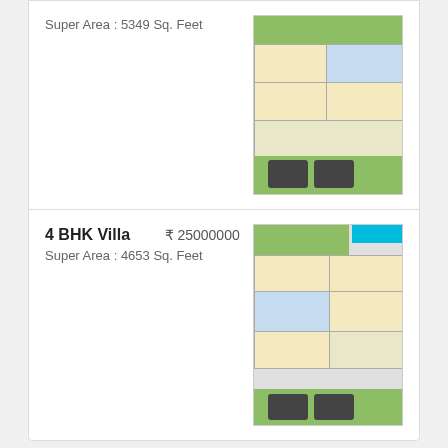Super Area : 5349 Sq. Feet
[Figure (schematic): Floor plan of a villa showing multiple rooms, green areas, and parking for two cars]
4 BHK Villa   ₹ 25000000
Super Area : 4653 Sq. Feet
[Figure (schematic): Floor plan of a 4 BHK villa with cyan badge, multiple rooms, green areas, and parking for two cars]
Project Video